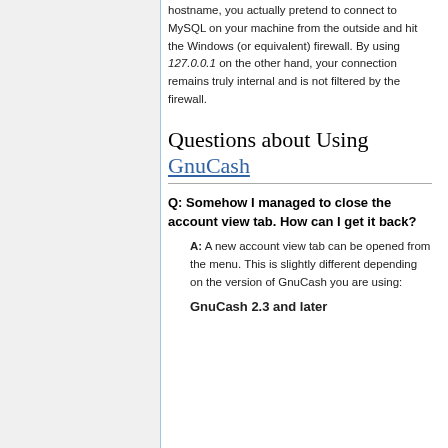hostname, you actually pretend to connect to MySQL on your machine from the outside and hit the Windows (or equivalent) firewall. By using 127.0.0.1 on the other hand, your connection remains truly internal and is not filtered by the firewall.
Questions about Using GnuCash
Q: Somehow I managed to close the account view tab. How can I get it back?
A: A new account view tab can be opened from the menu. This is slightly different depending on the version of GnuCash you are using:
GnuCash 2.3 and later